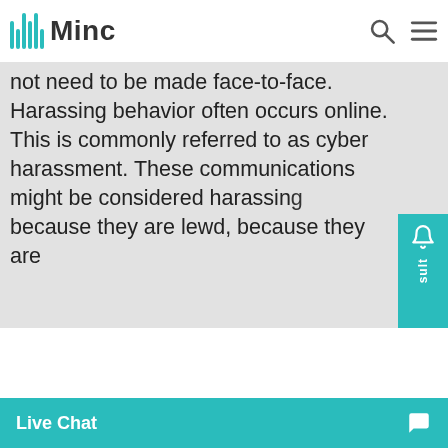Minc
not need to be made face-to-face. Harassing behavior often occurs online. This is commonly referred to as cyber harassment. These communications might be considered harassing because they are lewd, because they are
This website stores cookies on your computer. These cookies are used to improve your website experience and provide more personalized services to you, both on this website and through other media. To find out more about the cookies we use, see our Privacy Policy.
We won't track your information when you visit our site. But in order to comply with your preferences, we'll have to use just one tiny cookie so that you're not asked to make this choice again.
sexually transmitte... an intent to harass
Live Chat